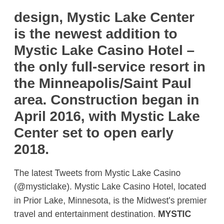design, Mystic Lake Center is the newest addition to Mystic Lake Casino Hotel – the only full-service resort in the Minneapolis/Saint Paul area. Construction began in April 2016, with Mystic Lake Center set to open early 2018.
The latest Tweets from Mystic Lake Casino (@mysticlake). Mystic Lake Casino Hotel, located in Prior Lake, Minnesota, is the Midwest's premier travel and entertainment destination. MYSTIC LAKE CASINO HOTEL $111 ($151) - Updated... -... Response from MysticLake, Manager at Mystic Lake Casino Hotel. Responded 1 week ago. Thank you for leaving us a review, Diniss1!Also known as. mystic lake hotel prior lakemystic lake casino hotelmystic lake